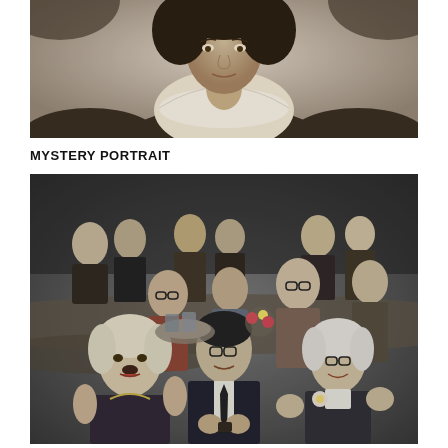[Figure (photo): Black and white vintage portrait photograph of a woman from the Victorian/Edwardian era, showing head and upper torso, wearing a blouse with lace collar and a dark choker necklace.]
MYSTERY PORTRAIT
[Figure (photo): Black and white photograph of a group of people seated and standing around a banquet table, applauding. Three people are prominently in the foreground: a woman with light hair on the left, a man in a suit in the center, and an older woman with glasses on the right. The setting appears to be a mid-20th century social gathering or dinner event.]